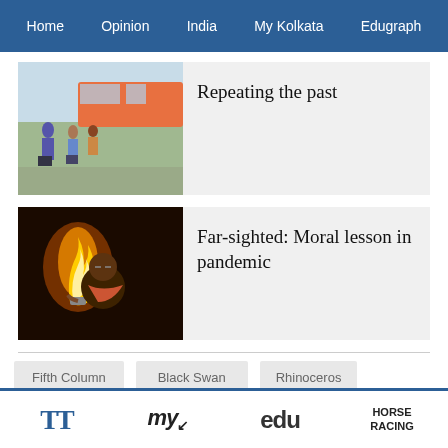Home  Opinion  India  My Kolkata  Edugraph
[Figure (photo): People with luggage near a bus, migrants scene]
Repeating the past
[Figure (photo): Man holding a flame/diya at night, appears to be PM Modi]
Far-sighted: Moral lesson in pandemic
Fifth Column
Black Swan
Rhinoceros
Coronavirus
Epidemic
TT  myk  edu  HORSE RACING